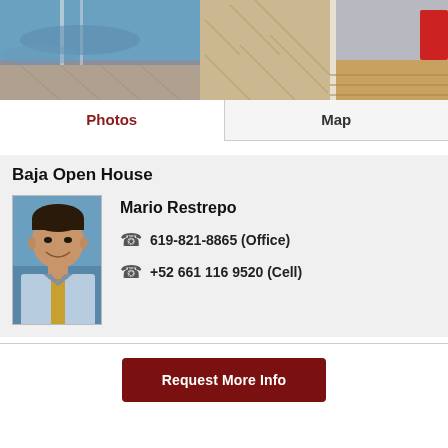[Figure (photo): Interior photo showing a hallway/balcony with ocean view on the left, tiled floor in a herringbone pattern, glass railing, and a room with wooden flooring on the right.]
Photos
Map
Baja Open House
[Figure (photo): Headshot of Mario Restrepo, a man in a light blue shirt and gold/yellow tie, smiling, with an ocean background.]
Mario Restrepo
619-821-8865 (Office)
+52 661 116 9520 (Cell)
Request More Info